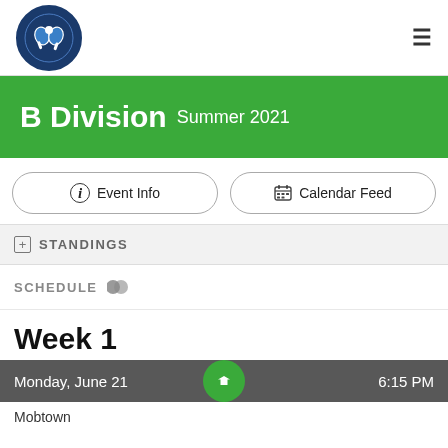Capital Ping Pong Club - Baltimore, Maryland logo and hamburger menu
B Division Summer 2021
i Event Info
Calendar Feed
STANDINGS
SCHEDULE
Week 1
Monday, June 21
6:15 PM
Mobtown